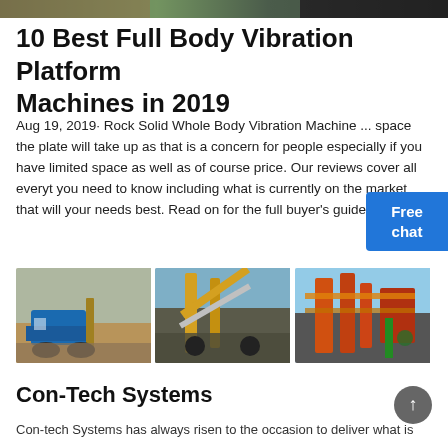[Figure (photo): Top strip image showing industrial or outdoor scene]
10 Best Full Body Vibration Platform Machines in 2019
Aug 19, 2019· Rock Solid Whole Body Vibration Machine ... space the plate will take up as that is a concern for people especially if you have limited space as well as of course price. Our reviews cover all everything you need to know including what is currently on the market that will your needs best. Read on for the full buyer's guide!
[Figure (photo): Three photos of industrial machinery and equipment side by side]
Con-Tech Systems
Con-tech Systems has always risen to the occasion to deliver what is